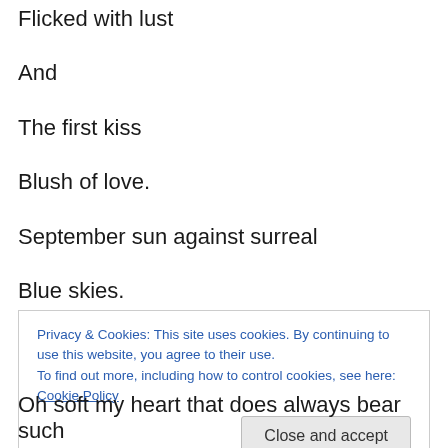Flicked with lust
And
The first kiss
Blush of love.
September sun against surreal
Blue skies.
Your eyes
Privacy & Cookies: This site uses cookies. By continuing to use this website, you agree to their use. To find out more, including how to control cookies, see here: Cookie Policy
Close and accept
Oh soft my heart that does always bear such